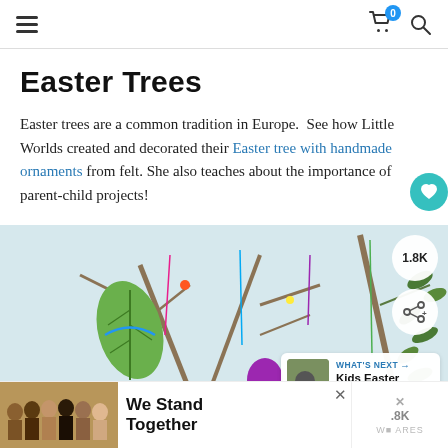Navigation bar with hamburger menu, cart icon with badge 0, and search icon
Easter Trees
Easter trees are a common tradition in Europe.  See how Little Worlds created and decorated their Easter tree with handmade ornaments from felt. She also teaches about the importance of parent-child projects!
[Figure (photo): Photo of an Easter tree decorated with colorful handmade felt ornaments including a green leaf, purple egg, and pink rose, with branches and greenery. Overlaid with a share count badge (1.8K), a share button, and a 'What's Next: Kids Easter Party Games' card.]
[Figure (photo): Advertisement banner showing a group of people with arms around each other, with text 'We Stand Together']